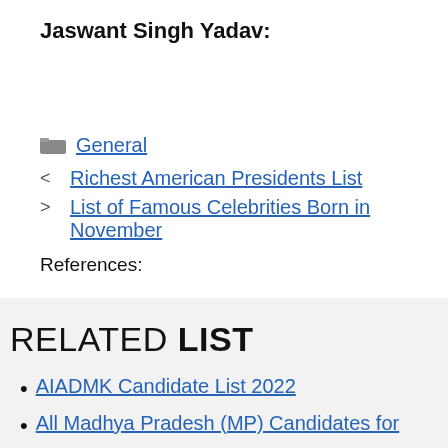Jaswant Singh Yadav:
General
Richest American Presidents List
List of Famous Celebrities Born in November
References:
RELATED LIST
AIADMK Candidate List 2022
All Madhya Pradesh (MP) Candidates for